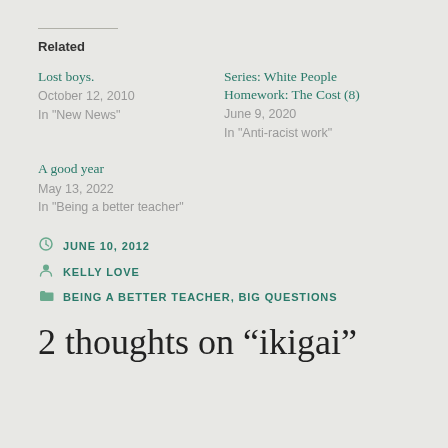Related
Lost boys.
October 12, 2010
In "New News"
Series: White People Homework: The Cost (8)
June 9, 2020
In "Anti-racist work"
A good year
May 13, 2022
In "Being a better teacher"
JUNE 10, 2012
KELLY LOVE
BEING A BETTER TEACHER, BIG QUESTIONS
2 thoughts on “ikigai”